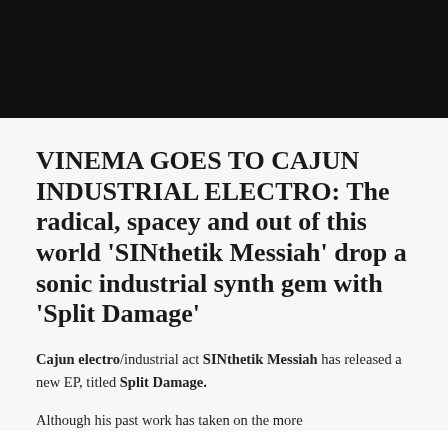VINEMA GOES TO CAJUN INDUSTRIAL ELECTRO: The radical, spacey and out of this world 'SINthetik Messiah' drop a sonic industrial synth gem with 'Split Damage'
Cajun electro/industrial act SINthetik Messiah has released a new EP, titled Split Damage.
Although his past work has taken on the more